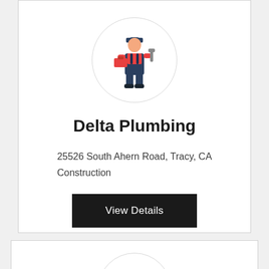[Figure (illustration): Plumber/handyman figure in overalls holding toolbox and wrench, inside a circular bordered frame]
Delta Plumbing
25526 South Ahern Road, Tracy, CA
Construction
View Details
[Figure (illustration): Second plumber/handyman figure in overalls holding toolbox and wrench, inside a circular bordered frame]
[Figure (illustration): Teal/cyan phone icon circle button in bottom right corner]